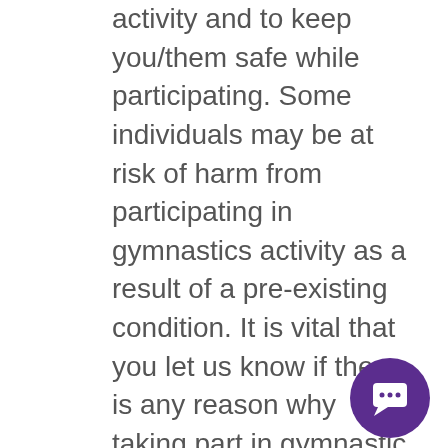activity and to keep you/them safe while participating. Some individuals may be at risk of harm from participating in gymnastics activity as a result of a pre-existing condition. It is vital that you let us know if there is any reason why taking part in gymnastic activity may be unsafe prior to participation. With your agreement, we will review any information you provide and undertake risk assessments in consultation with yourself and any appropriate trained professionals e.g. medical consultants. When we ask participants to provide relevant health information such as details of medical conditions, medication needs, allergies or injuries, this is because we have a legal obligation. If you are selected for a role at the club, we usually obtain a reference from any appropriate organisation or individual you
[Figure (other): Purple circular chat/message button in bottom-right corner]